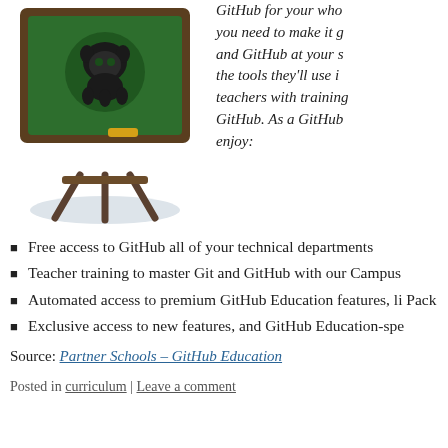[Figure (illustration): Illustration of a green chalkboard on an easel with the GitHub mascot (Octocat) logo on it, set against a light grey oval shadow.]
GitHub for your who you need to make it g and GitHub at your s the tools they'll use i teachers with training GitHub. As a GitHub enjoy:
Free access to GitHub all of your technical departments
Teacher training to master Git and GitHub with our Campus
Automated access to premium GitHub Education features, li Pack
Exclusive access to new features, and GitHub Education-spe
Source: Partner Schools – GitHub Education
Posted in curriculum | Leave a comment